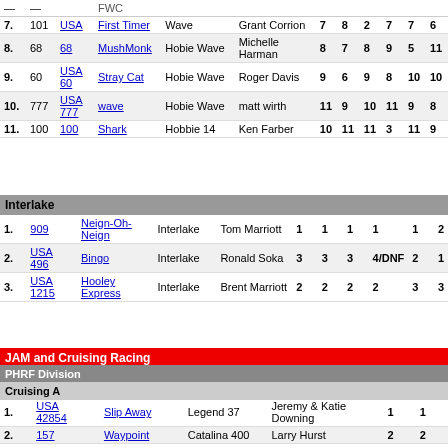| Pos | Sail | Sail2 | Boat | Class | Skipper | R1 | R2 | R3 | R4 | R5 | R6 |
| --- | --- | --- | --- | --- | --- | --- | --- | --- | --- | --- | --- |
| 7. | 101 | USA | First Timer | Wave | Grant Corrion | 7 | 8 | 2 | 7 | 7 | 6 |
| 8. | 68 | 68 | MushMonk | Hobie Wave | Michelle Harman | 8 | 7 | 8 | 9 | 5 | 11 |
| 9. | 60 | USA 60 | Stray Cat | Hobie Wave | Roger Davis | 9 | 6 | 9 | 8 | 10 | 10 |
| 10. | 777 | USA 777 | wave | Hobie Wave | matt wirth | 11 | 9 | 10 | 11 | 9 | 8 |
| 11. | 100 | 100 | Shark | Hobbie 14 | Ken Farber | 10 | 11 | 11 | 3 | 11 | 9 |
Interlake
| Pos | Sail | Boat | Class | Skipper | R1 | R2 | R3 | R4 | R5 | R6 |
| --- | --- | --- | --- | --- | --- | --- | --- | --- | --- | --- |
| 1. | 909 | Neign-Oh-Neign | Interlake | Tom Marriott | 1 | 1 | 1 | 1 | 1 | 2 |
| 2. | USA 496 | Bingo | Interlake | Ronald Soka | 3 | 3 | 3 | 4/DNF | 2 | 1 |
| 3. | USA 1215 | Hooley Express | Interlake | Brent Marriott | 2 | 2 | 2 | 2 | 3 | 3 |
JAM and Cruising Racing
PHRF Division
Cruising A
| Pos | Sail | Boat | Class | Skipper | R1 | R2 |
| --- | --- | --- | --- | --- | --- | --- |
| 1. | USA 42854 | Slip Away | Legend 37 | Jeremy & Katie Downing | 1 | 1 |
| 2. | 157 | Waypoint | Catalina 400 | Larry Hurst | 2 | 2 |